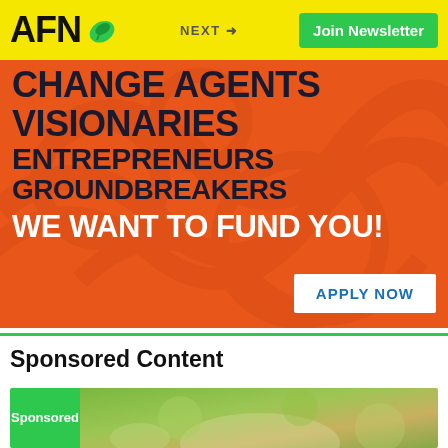AFN — NEXT → Join Newsletter
[Figure (infographic): Orange banner with decorative swirl pattern. Bold dark text: CHANGE AGENTS, VISIONARIES, ENTREPRENEURS, GROUNDBREAKERS. White text: WE WANT TO FUND YOU! White button: APPLY NOW]
Sponsored Content
[Figure (photo): Sponsored content card with green 'Sponsored' label and blurred green food/nature photo]